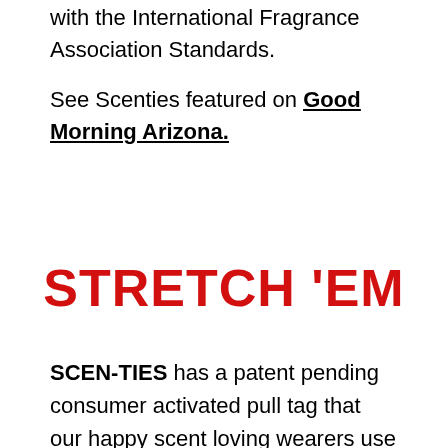with the International Fragrance Association Standards.
See Scenties featured on Good Morning Arizona.
STRETCH 'EM
SCEN-TIES has a patent pending consumer activated pull tag that our happy scent loving wearers use to stretch them which activates and intensifies the delicious smells embedded in our